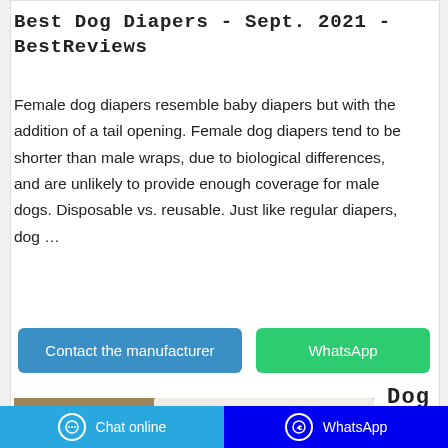Best Dog Diapers - Sept. 2021 - BestReviews
Female dog diapers resemble baby diapers but with the addition of a tail opening. Female dog diapers tend to be shorter than male wraps, due to biological differences, and are unlikely to provide enough coverage for male dogs. Disposable vs. reusable. Just like regular diapers, dog …
[Figure (other): Two buttons: 'Contact the manufacturer' (blue/teal) and 'WhatsApp' (green)]
Dog
[Figure (photo): Photo of a wooden table with a teal/mint colored box of dog diapers and a white background]
Chat online   WhatsApp